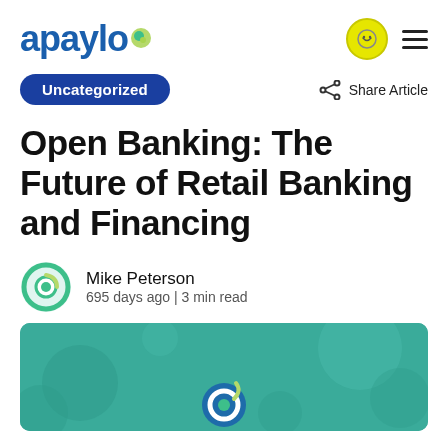apaylo
Uncategorized
Share Article
Open Banking: The Future of Retail Banking and Financing
Mike Peterson
695 days ago | 3 min read
[Figure (illustration): Teal/green hero banner with circular dot pattern and Apaylo logo mark partially visible at bottom center]